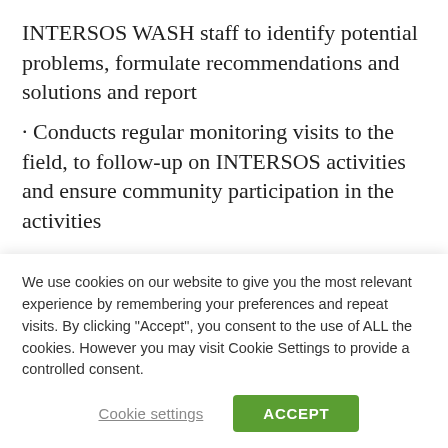INTERSOS WASH staff to identify potential problems, formulate recommendations and solutions and report
· Conducts regular monitoring visits to the field, to follow-up on INTERSOS activities and ensure community participation in the activities
· Ensures that consideration is given with a focus on gender, protection and HIV/AIDS in water and
We use cookies on our website to give you the most relevant experience by remembering your preferences and repeat visits. By clicking "Accept", you consent to the use of ALL the cookies. However you may visit Cookie Settings to provide a controlled consent.
Cookie settings | ACCEPT